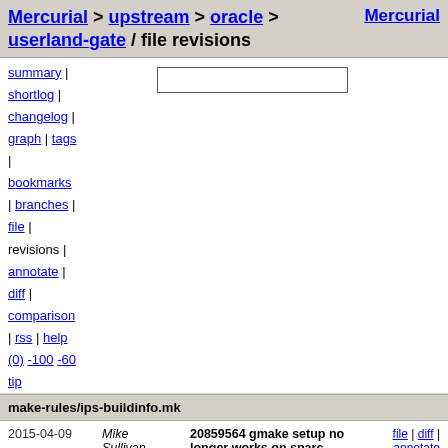Mercurial > upstream > oracle > userland-gate / file revisions    Mercurial
summary | shortlog | changelog | graph | tags | bookmarks | branches | file | revisions | annotate | diff | comparison | rss | help (0) -100 -60 tip
make-rules/ips-buildinfo.mk
| Date | Author | Description | Links |
| --- | --- | --- | --- |
| 2015-04-09 | Mike Sullivan | 20859564 gmake setup no longer works on sparc | file | diff | annotate |
| 2015-04-06 | Mike Sullivan | Close of build 72.  s12-72 | file | diff | annotate |
| 2015-04-01 | Petr Nyc | ips-buildinfo.mk  s11u2-sru  0.175.2.10.0.1.0  S11.2SRU10.1 | file | diff | annotate |
| 2015-03-31 | Norm Jacobs | Close of build 20.  s11-update  s11u3-20 | file | diff | annotate |